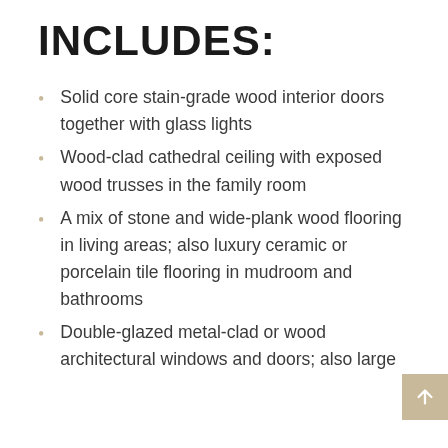INCLUDES:
Solid core stain-grade wood interior doors together with glass lights
Wood-clad cathedral ceiling with exposed wood trusses in the family room
A mix of stone and wide-plank wood flooring in living areas; also luxury ceramic or porcelain tile flooring in mudroom and bathrooms
Double-glazed metal-clad or wood architectural windows and doors; also large